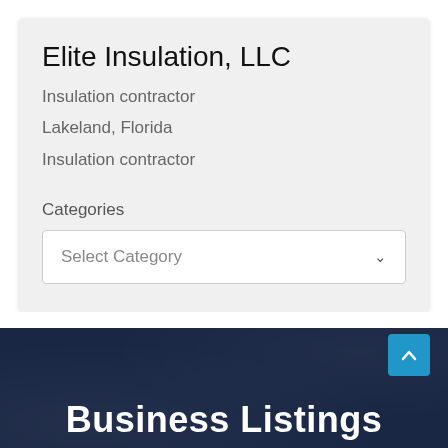Elite Insulation, LLC
Insulation contractor
Lakeland, Florida
Insulation contractor
Categories
Select Category
Business Listings